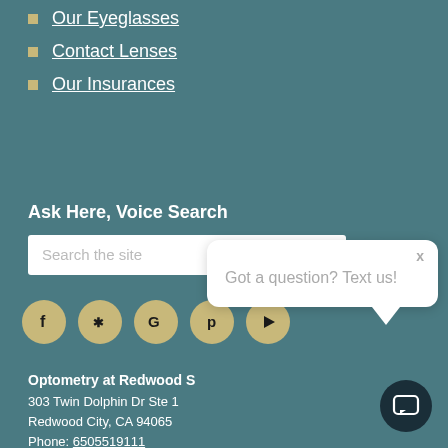Our Eyeglasses
Contact Lenses
Our Insurances
Ask Here, Voice Search
[Figure (screenshot): Search bar with microphone icon]
[Figure (infographic): Social media icons: Facebook, Yelp, Google, Pinterest, YouTube]
Optometry at Redwood S
303 Twin Dolphin Dr Ste 1
Redwood City, CA 94065
Phone: 6505519111
https://www.optometryatredwoodshores.com/
[Figure (screenshot): Chat popup: Got a question? Text us!]